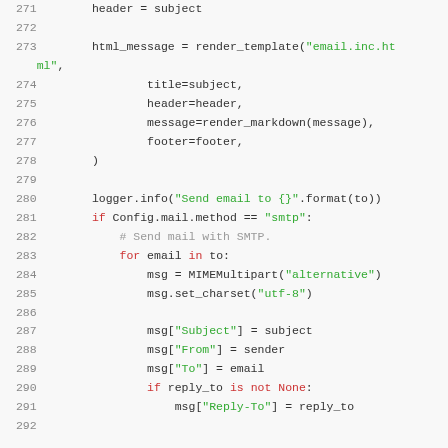[Figure (screenshot): Code snippet showing Python email sending logic, lines 271-292, with syntax highlighting. Line numbers in gray on left, keywords in red, strings in green, comments in gray, plain code in dark.]